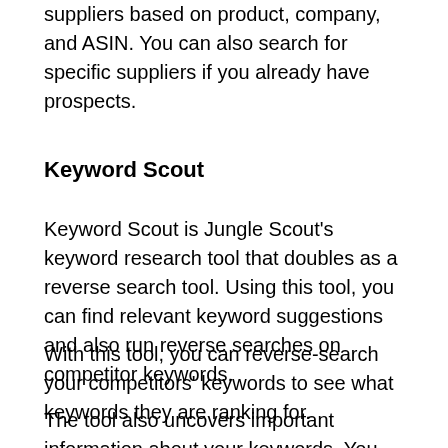suppliers based on product, company, and ASIN. You can also search for specific suppliers if you already have prospects.
Keyword Scout
Keyword Scout is Jungle Scout's keyword research tool that doubles as a reverse search tool. Using this tool, you can find relevant keyword suggestions and also run reverse searches on competitor keywords.
With this tool, you can reverse-search your competitors' keywords to see what keywords they are ranking for.
The tool also uncovers important information about your keywords. You can see the search